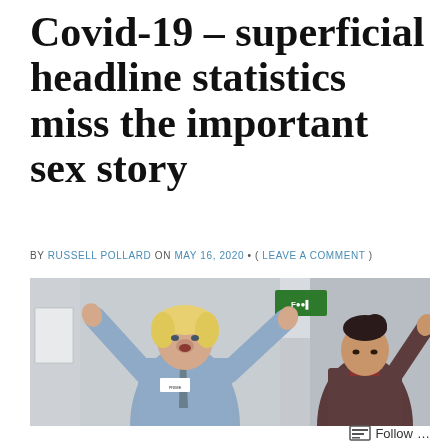Covid-19 – superficial headline statistics miss the important sex story
BY RUSSELL POLLARD ON MAY 16, 2020 • ( LEAVE A COMMENT )
[Figure (photo): Two people in a hospital corridor, one with both hands raised in a gesturing pose, wearing a light blue shirt and name badge, the other a woman in dark clothing with one hand raised]
Follow